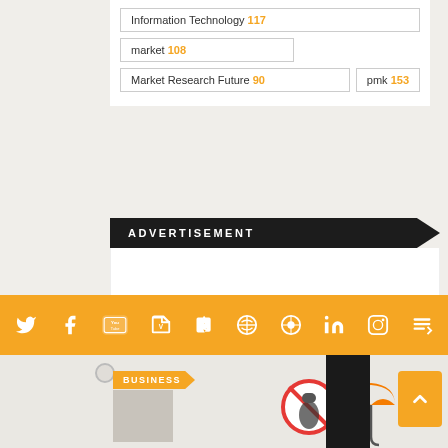Information Technology 117
market 108
Market Research Future 90
pmk 153
ADVERTISEMENT
[Figure (infographic): Social media icon bar with Twitter, Facebook, YouTube, Vimeo, Tumblr, Dribbble, Pinterest, LinkedIn, Flickr, RSS icons on a gold/yellow background]
[Figure (infographic): Bottom section with BUSINESS tag, illustration thumbnails, scroll indicators, and up-arrow button]